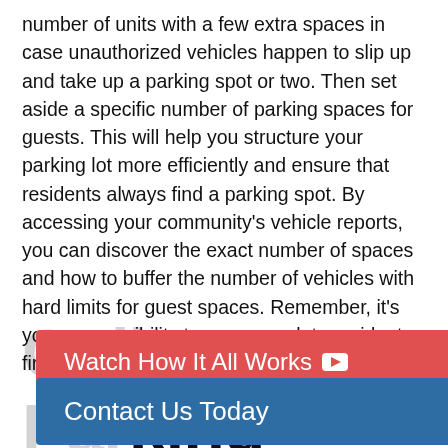number of units with a few extra spaces in case unauthorized vehicles happen to slip up and take up a parking spot or two. Then set aside a specific number of parking spaces for guests. This will help you structure your parking lot more efficiently and ensure that residents always find a parking spot. By accessing your community's vehicle reports, you can discover the exact number of spaces and how to buffer the number of vehicles with hard limits for guest spaces. Remember, it's your responsibility to accommodate residents first and foremost.
Collect Parking Data
[Figure (other): Red button overlay: 'Watch How It All Works' with YouTube play icon]
[Figure (other): Blue button overlay: 'Contact Us Today']